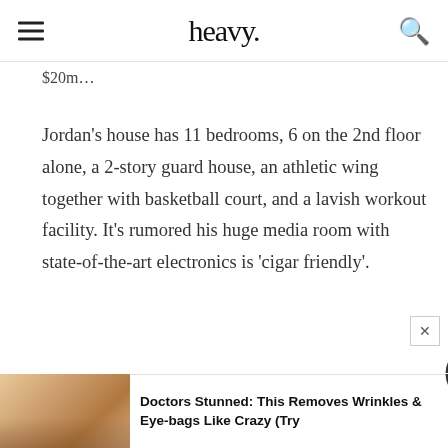heavy.
$20m...
Jordan's house has 11 bedrooms, 6 on the 2nd floor alone, a 2-story guard house, an athletic wing together with basketball court, and a lavish workout facility. It's rumored his huge media room with state-of-the-art electronics is 'cigar friendly'.
[Figure (photo): Close-up photo of a woman's face with heavy glitter eye makeup, used as advertisement thumbnail]
Doctors Stunned: This Removes Wrinkles & Eye-bags Like Crazy (Try